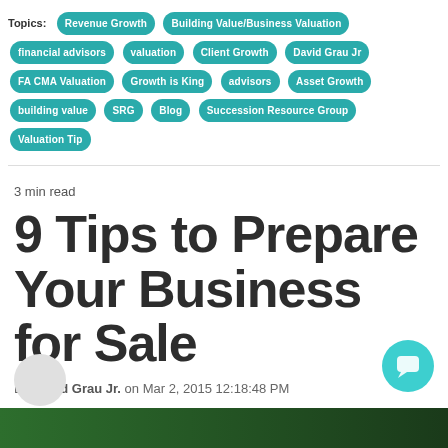Topics: Revenue Growth | Building Value/Business Valuation | financial advisors | valuation | Client Growth | David Grau Jr | FA CMA Valuation | Growth is King | advisors | Asset Growth | building value | SRG | Blog | Succession Resource Group | Valuation Tip
3 min read
9 Tips to Prepare Your Business for Sale
By David Grau Jr. on Mar 2, 2015 12:18:48 PM